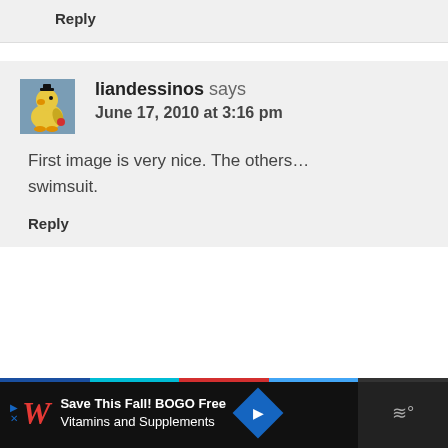Reply
liandessinos says
June 17, 2010 at 3:16 pm
First image is very nice. The others… swimsuit.
Reply
Save This Fall! BOGO Free Vitamins and Supplements